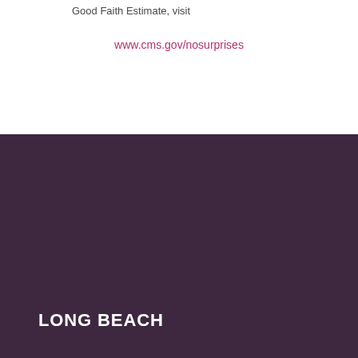Good Faith Estimate, visit
www.cms.gov/nosurprises
LONG BEACH
[Figure (photo): Photograph of a historic multi-story building with a green spire/tower and ornate architecture against a blue sky, located in Long Beach]